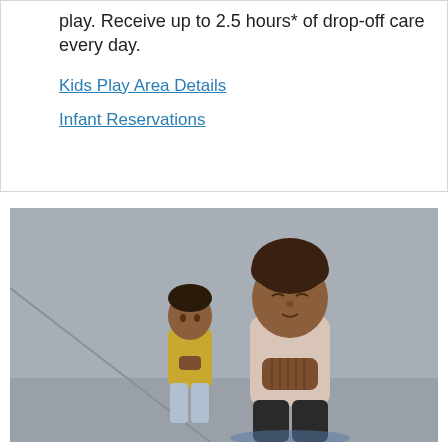play. Receive up to 2.5 hours* of drop-off care every day.
Kids Play Area Details
Infant Reservations
[Figure (photo): Two children in a meditative yoga pose with hands pressed together in prayer position. The child in the foreground wears a light pink shirt and has curly hair with eyes closed. A second child in a yellow shirt stands in the background, also in prayer pose. Grey wall background.]